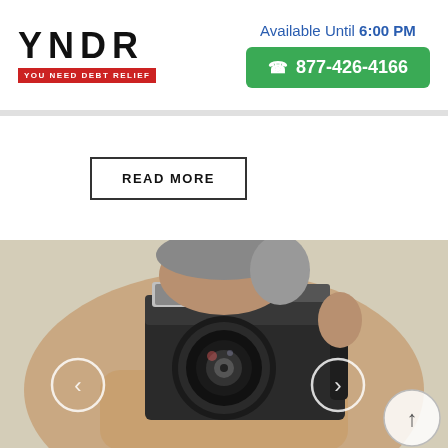[Figure (logo): YNDR - You Need Debt Relief logo with large black letters and red tagline bar]
Available Until 6:00 PM
877-426-4166
READ MORE
[Figure (photo): Person holding a vintage film camera up to their face, photographing toward the viewer. A left navigation arrow and a right navigation arrow overlay the image, plus an up-arrow scroll button in the lower right.]